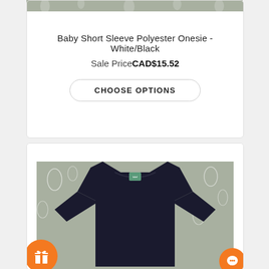[Figure (photo): Top portion of a product card showing a grey animal pattern background at the very top (cropped)]
Baby Short Sleeve Polyester Onesie - White/Black
Sale Price CAD$15.52
CHOOSE OPTIONS
[Figure (photo): Second product card showing a dark navy/black baby short sleeve onesie on a grey giraffe-pattern background. An orange gift icon button is in the bottom left and an orange chat button is in the bottom right.]